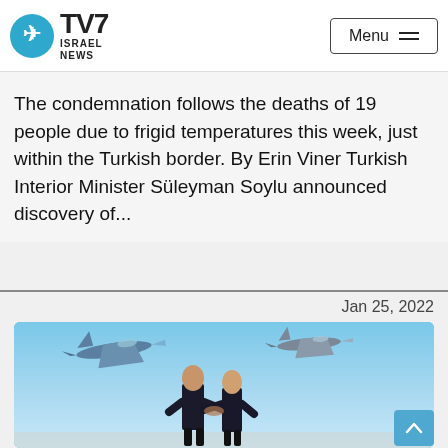TV7 Israel News — Navigation bar with Menu button
The condemnation follows the deaths of 19 people due to frigid temperatures this week, just within the Turkish border. By Erin Viner Turkish Interior Minister Süleyman Soylu announced discovery of...
Jan 25, 2022
[Figure (photo): Two men in suits shaking hands in front of a blue sky, with two military jet fighters flying in the background. Appears to be a formal diplomatic meeting photo.]